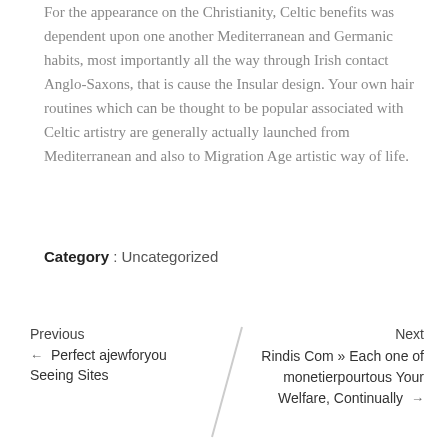For the appearance on the Christianity, Celtic benefits was dependent upon one another Mediterranean and Germanic habits, most importantly all the way through Irish contact Anglo-Saxons, that is cause the Insular design. Your own hair routines which can be thought to be popular associated with Celtic artistry are generally actually launched from Mediterranean and also to Migration Age artistic way of life.
Category : Uncategorized
Previous
← Perfect ajewforyou Seeing Sites
Next
Rindis Com » Each one of monetierpourtous Your Welfare, Continually →